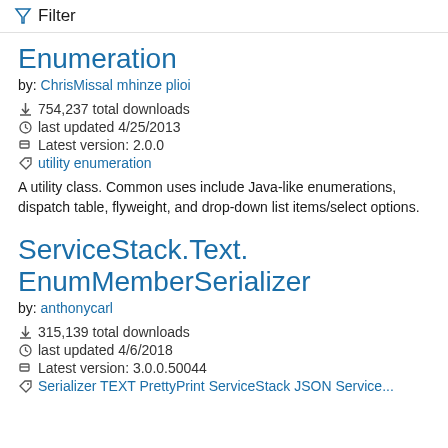Filter
Enumeration
by: ChrisMissal mhinze plioi
754,237 total downloads
last updated 4/25/2013
Latest version: 2.0.0
utility enumeration
A utility class. Common uses include Java-like enumerations, dispatch table, flyweight, and drop-down list items/select options.
ServiceStack.Text.EnumMemberSerializer
by: anthonycarl
315,139 total downloads
last updated 4/6/2018
Latest version: 3.0.0.50044
Serializer TEXT PrettyPrint ServiceStack JSON Service...